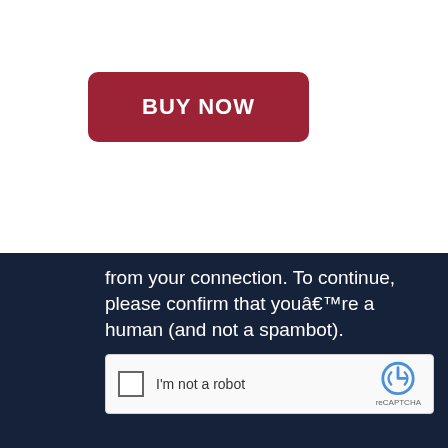[Figure (screenshot): Red rounded rectangle button with white bold text 'BUY NOW']
Wear Gloves?  You Will Love FiteBac!
[Figure (screenshot): Dark navy overlay with white text: 'from your connection. To continue, please confirm that you’re a human (and not a spambot).' and reCAPTCHA widget showing checkbox labeled 'I'm not a robot' with reCAPTCHA logo and 'reCAPTCHA' text]